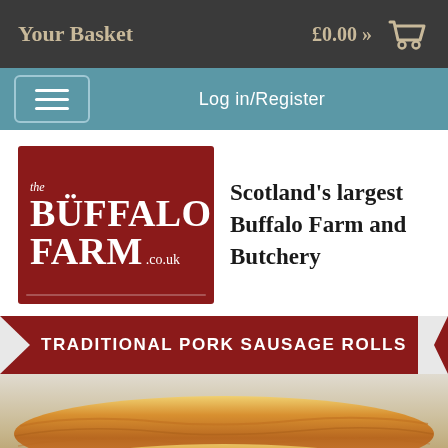Your Basket  £0.00 »
Log in/Register
[Figure (logo): The Buffalo Farm .co.uk logo — dark red background with white bold text]
Scotland's largest Buffalo Farm and Butchery
TRADITIONAL PORK SAUSAGE ROLLS
[Figure (photo): Close-up photograph of golden baked traditional pork sausage rolls with flaky pastry]